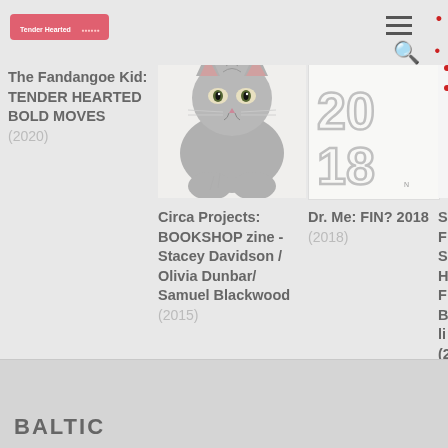Tender Hearted
[Figure (photo): Pink/red banner logo reading 'Tender Hearted']
[Figure (photo): Photo of a grey British Shorthair cat sitting and looking at camera]
[Figure (illustration): Dr. Me: FIN? 2018 cover art with outlined numbers and letters on white background]
[Figure (other): Partially visible fourth publication cover with red dotted pattern]
The Fandangoe Kid: TENDER HEARTED BOLD MOVES (2020)
Circa Projects: BOOKSHOP zine - Stacey Davidson / Olivia Dunbar/ Samuel Blackwood (2015)
Dr. Me: FIN? 2018 (2018)
S F S H F B li (2
BALTIC